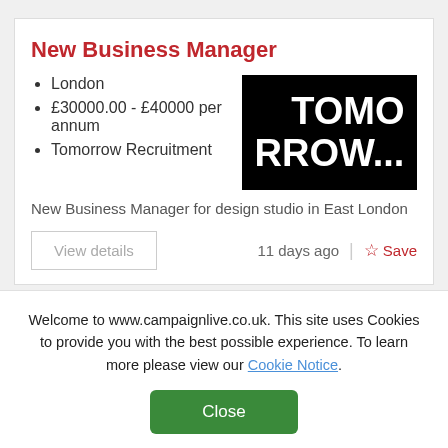New Business Manager
London
£30000.00 - £40000 per annum
Tomorrow Recruitment
[Figure (logo): Tomorrow Recruitment logo — black background with white text reading TOMORROW...]
New Business Manager for design studio in East London
View details
11 days ago
Save
Marketing Manager
Welcome to www.campaignlive.co.uk. This site uses Cookies to provide you with the best possible experience. To learn more please view our Cookie Notice.
Close